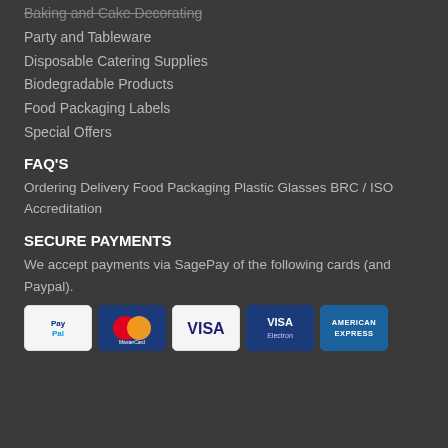Baking and Cake Decorating
Party and Tableware
Disposable Catering Supplies
Biodegradable Products
Food Packaging Labels
Special Offers
FAQ'S
Ordering Delivery Food Packaging Plastic Glasses BRC / ISO Accreditation
SECURE PAYMENTS
We accept payments via SagePay of the following cards (and Paypal).
[Figure (infographic): Row of payment card logos: PayPal, MasterCard, Visa, Visa Electron, American Express]